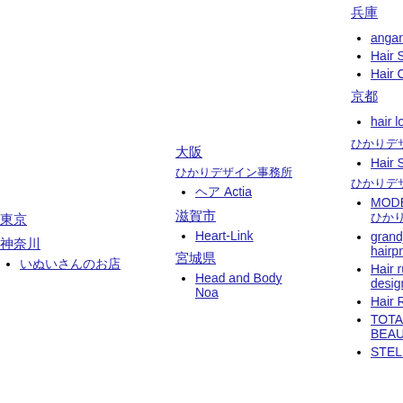兵庫
angara h
Hair Sale
Hair Cap
京都
hair loun
東京
田町
神奈川
いぬいさんのお店
大阪
ひかりデザイン事務所
ヘア Actia
滋賀市
Heart-Link
宮城県
Head and Body Noa
ひかりデザイン事務所
Hair Sale
ひかりデザイン事務所2
MODE K
ひかりデザイン
grandjute hairprod
Hair ruup design w
Hair Ruu
TOTAL BEAUTY
STELLA